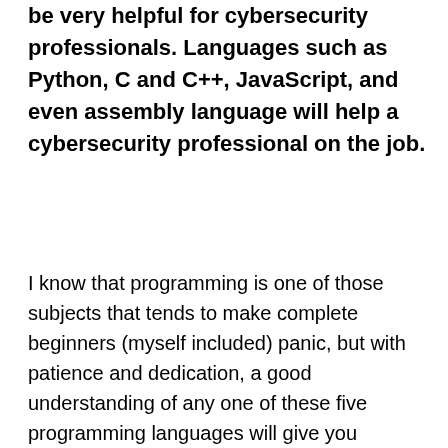be very helpful for cybersecurity professionals. Languages such as Python, C and C++, JavaScript, and even assembly language will help a cybersecurity professional on the job.
I know that programming is one of those subjects that tends to make complete beginners (myself included) panic, but with patience and dedication, a good understanding of any one of these five programming languages will give you